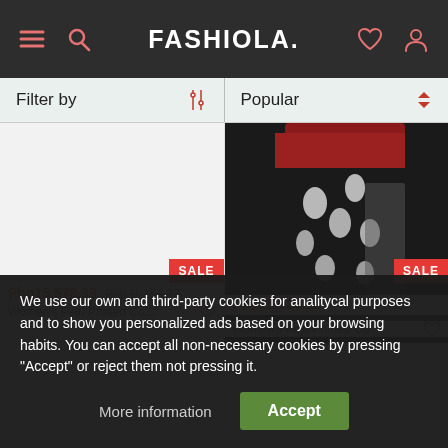FASHIOLA.
Filter by | Popular
[Figure (photo): Left product image area - mostly blank white, with SALE badge. Price: Php15,578.39 (was Php31,156.77). Product: Women's Peiu Printed Co...]
[Figure (photo): Right product - dark black and red floral/bird print skirt/dress. SALE badge. Price: Php15,526.15 (was Php31,052.38). Product: Women's Peiu Printed Co...]
We use our own and third-party cookies for analitycal purposes and to show you personalized ads based on your browsing habits. You can accept all non-necessary cookies by pressing "Accept" or reject them not pressing it.
More information    Accept